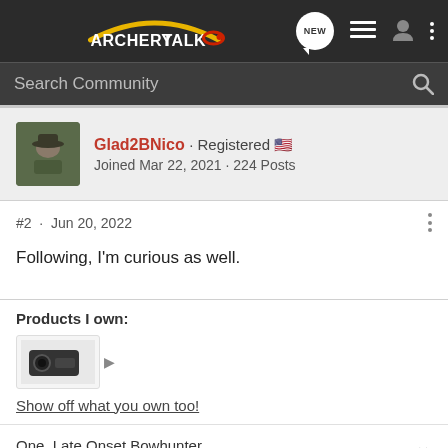ArcheryTalk — navigation bar with search
Glad2BNico · Registered 🇺🇸 Joined Mar 22, 2021 · 224 Posts
#2 · Jun 20, 2022
Following, I'm curious as well.
Products I own:
Show off what you own too!
One, Late Onset Bowhunter